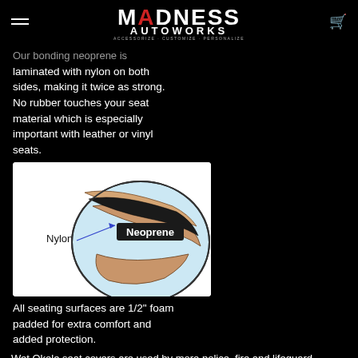MADNESS AUTOWORKS — ACCESSORIZE · CUSTOMIZE · PERSONALIZE
Our bonding neoprene is laminated with nylon on both sides, making it twice as strong. No rubber touches your seat material which is especially important with leather or vinyl seats.
[Figure (illustration): Cross-section diagram of neoprene material showing layered construction with labels: Nylon (outer layer) and Neoprene (middle black layer), shown inside a circular cutaway view with tan/beige fabric layers.]
All seating surfaces are 1/2" foam padded for extra comfort and added protection.
Wet Okole seat covers are used by more police, fire and lifeguard agencies than any other cover